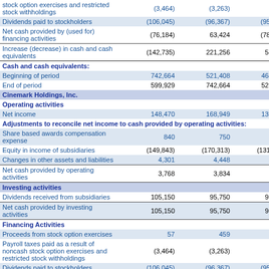|  | Col1 | Col2 | Col3 |
| --- | --- | --- | --- |
| stock option exercises and restricted stock withholdings | (3,464) | (3,263) | (494) |
| Dividends paid to stockholders | (106,045) | (96,367) | (95,838) |
| Net cash provided by (used for) financing activities | (76,184) | 63,424 | (78,414) |
| Increase (decrease) in cash and cash equivalents | (142,735) | 221,256 | 56,411 |
| Cash and cash equivalents: |  |  |  |
| Beginning of period | 742,664 | 521,408 | 464,997 |
| End of period | 599,929 | 742,664 | 521,408 |
| Cinemark Holdings, Inc. |  |  |  |
| Operating activities |  |  |  |
| Net income | 148,470 | 168,949 | 130,557 |
| Adjustments to reconcile net income to cash provided by operating activities: |  |  |  |
| Share based awards compensation expense | 840 | 750 | 666 |
| Equity in income of subsidiaries | (149,843) | (170,313) | (131,927) |
| Changes in other assets and liabilities | 4,301 | 4,448 | 1,516 |
| Net cash provided by operating activities | 3,768 | 3,834 | 812 |
| Investing activities |  |  |  |
| Dividends received from subsidiaries | 105,150 | 95,750 | 95,000 |
| Net cash provided by investing activities | 105,150 | 95,750 | 95,000 |
| Financing Activities |  |  |  |
| Proceeds from stock option exercises | 57 | 459 | 444 |
| Payroll taxes paid as a result of noncash stock option exercises and restricted stock withholdings | (3,464) | (3,263) | (494) |
| Dividends paid to stockholders | (106,045) | (96,367) | (95,838) |
| Net cash provided by (used for) financing | (109,452) | (99,171) | (95,888) |